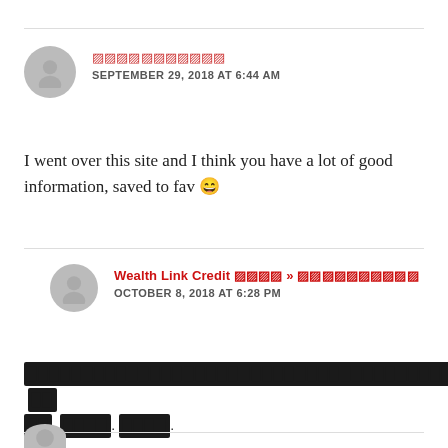[redacted username] SEPTEMBER 29, 2018 AT 6:44 AM
I went over this site and I think you have a lot of good information, saved to fav 🙂
Wealth Link Credit [redacted] » [redacted] OCTOBER 8, 2018 AT 6:28 PM
[redacted text block]